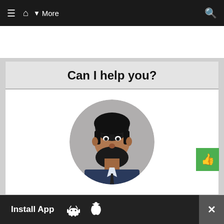≡  🏠  ▼ More    🔍
Can I help you?
[Figure (photo): Circular profile photo of Ramandeep Singh, a man with dark hair and beard wearing a suit and tie]
Hey I am Ramandeep Singh. I am determined to help students preparing for RBI, SEBI, NABARD
Install App   [Android icon]   [Apple icon]   ×